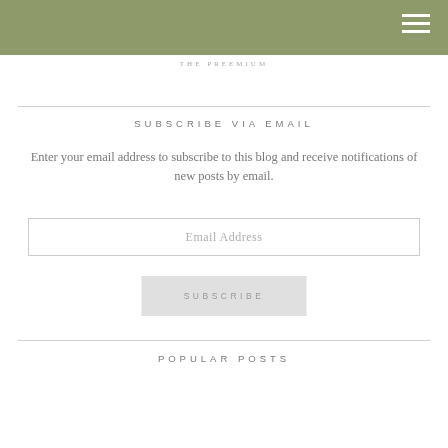THE PREEMIUM
SUBSCRIBE VIA EMAIL
Enter your email address to subscribe to this blog and receive notifications of new posts by email.
POPULAR POSTS